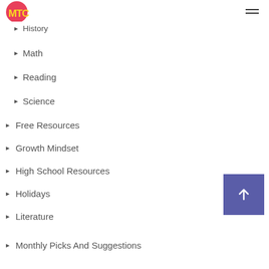MTC logo and hamburger menu
History
Math
Reading
Science
Free Resources
Growth Mindset
High School Resources
Holidays
Literature
Monthly Picks And Suggestions